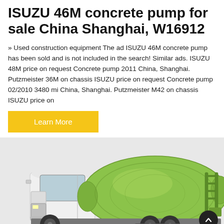ISUZU 46M concrete pump for sale China Shanghai, W16912
» Used construction equipment The ad ISUZU 46M concrete pump has been sold and is not included in the search! Similar ads. ISUZU 48M price on request Concrete pump 2011 China, Shanghai. Putzmeister 36M on chassis ISUZU price on request Concrete pump 02/2010 3480 mi China, Shanghai. Putzmeister M42 on chassis ISUZU price on
Learn More
[Figure (photo): A green concrete mixer truck (ISUZU chassis with lime-green rotating drum) on a light grey background, shown from the side/front-right angle.]